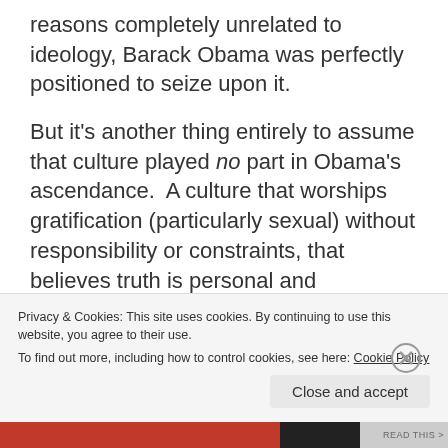reasons completely unrelated to ideology, Barack Obama was perfectly positioned to seize upon it.
But it's another thing entirely to assume that culture played no part in Obama's ascendance. A culture that worships gratification (particularly sexual) without responsibility or constraints, that believes truth is personal and relativistic rather than grounded in permanent wisdom, that has been conditioned to expect everyone else to
Privacy & Cookies: This site uses cookies. By continuing to use this website, you agree to their use.
To find out more, including how to control cookies, see here: Cookie Policy